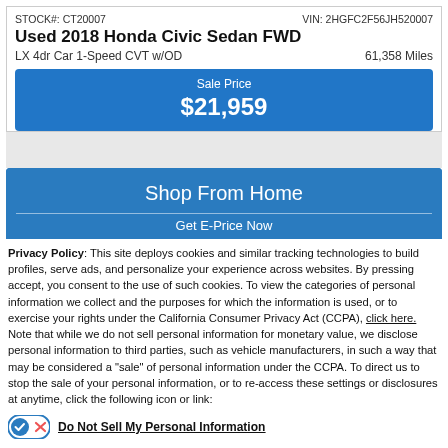STOCK#: CT20007   VIN: 2HGFC2F56JH520007
Used 2018 Honda Civic Sedan FWD
LX 4dr Car 1-Speed CVT w/OD   61,358 Miles
Sale Price $21,959
Shop From Home
Get E-Price Now
Privacy Policy: This site deploys cookies and similar tracking technologies to build profiles, serve ads, and personalize your experience across websites. By pressing accept, you consent to the use of such cookies. To view the categories of personal information we collect and the purposes for which the information is used, or to exercise your rights under the California Consumer Privacy Act (CCPA), click here. Note that while we do not sell personal information for monetary value, we disclose personal information to third parties, such as vehicle manufacturers, in such a way that may be considered a "sale" of personal information under the CCPA. To direct us to stop the sale of your personal information, or to re-access these settings or disclosures at anytime, click the following icon or link:
Do Not Sell My Personal Information
Language:  English
Powered by ComplyAuto
Accept and Continue →   California Privacy Disclosures   ×